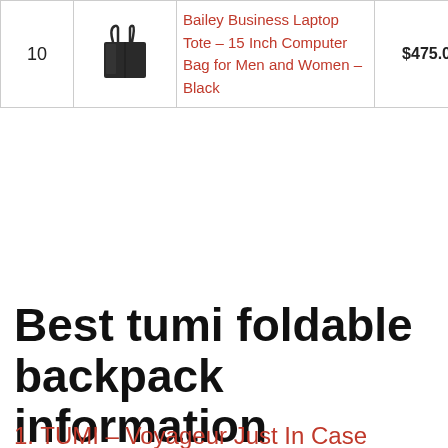| # | Image | Product | Price | Action |
| --- | --- | --- | --- | --- |
| 10 | [bag image] | Bailey Business Laptop Tote – 15 Inch Computer Bag for Men and Women – Black | $475.00 | Buy on Amazon |
Best tumi foldable backpack information
1. TUMI – Voyageur Just In Case